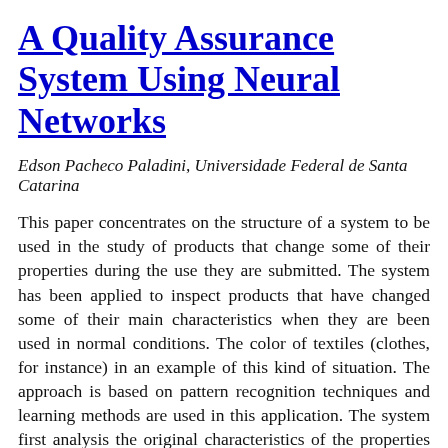A Quality Assurance System Using Neural Networks
Edson Pacheco Paladini, Universidade Federal de Santa Catarina
This paper concentrates on the structure of a system to be used in the study of products that change some of their properties during the use they are submitted. The system has been applied to inspect products that have changed some of their main characteristics when they are been used in normal conditions. The color of textiles (clothes, for instance) in an example of this kind of situation. The approach is based on pattern recognition techniques and learning methods are used in this application. The system first analysis the original characteristics of the properties and then studies a set of images of the material during its use, after some days or months. A classification system is developed to define if the changes during this period are acceptable or not. The evaluation is made according to the classification that the system has learnt. A neural network is used in this system. Starting with the analysis made in the material in the moment it leaves the factory (patterns), we follow the pieces during the use, comparing them with the patterns. The neural network decides if the changes are acceptable or not.